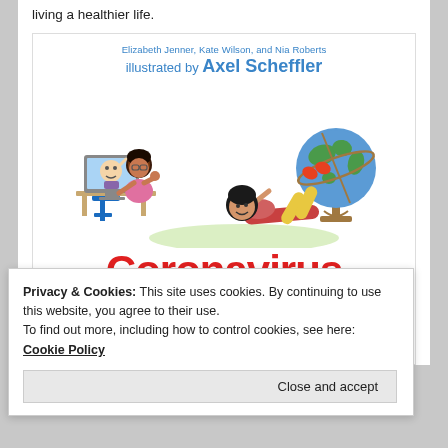living a healthier life.
[Figure (illustration): Book cover for 'Coronavirus: A Book for Children' by Elizabeth Jenner, Kate Wilson, and Nia Roberts, illustrated by Axel Scheffler. Shows cartoon children and adults in pandemic scenes, with the title in large red text.]
Privacy & Cookies: This site uses cookies. By continuing to use this website, you agree to their use.
To find out more, including how to control cookies, see here: Cookie Policy
Close and accept